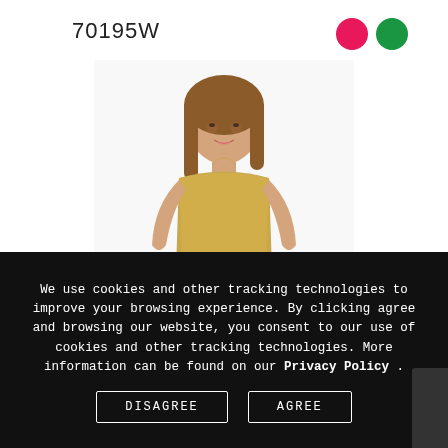70195W
[Figure (illustration): Two color swatches: hot pink circle and dark green circle]
[Figure (photo): Young woman wearing a gold sequin halter-neck gown with pleated skirt, standing against a white background]
RACHEL ALLAN
We use cookies and other tracking technologies to improve your browsing experience. By clicking agree and browsing our website, you consent to our use of cookies and other tracking technologies. More information can be found on our Privacy Policy .
DISAGREE
AGREE